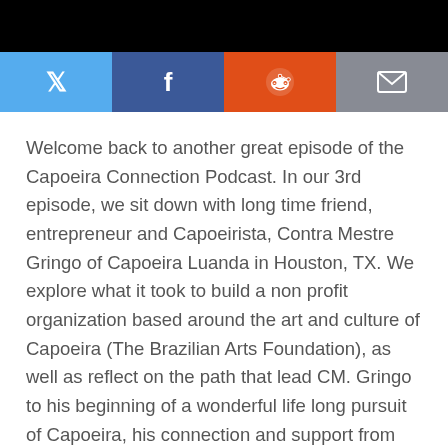[Figure (other): Social sharing bar with Twitter (blue), Facebook (dark blue), Reddit (orange-red), and Email (grey) buttons]
Welcome back to another great episode of the Capoeira Connection Podcast. In our 3rd episode, we sit down with long time friend, entrepreneur and Capoeirista, Contra Mestre Gringo of Capoeira Luanda in Houston, TX. We explore what it took to build a non profit organization based around the art and culture of Capoeira (The Brazilian Arts Foundation), as well as reflect on the path that lead CM. Gringo to his beginning of a wonderful life long pursuit of Capoeira, his connection and support from his Mestre (Mestre Jelon Vieira) and his goals for the future.